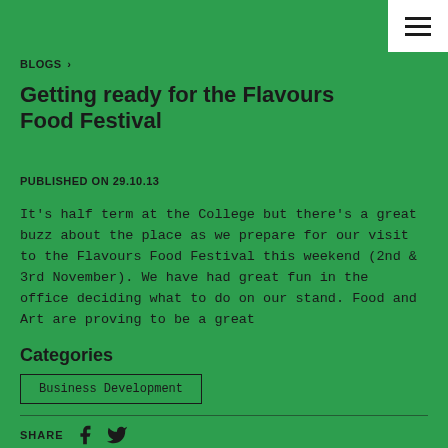BLOGS >
Getting ready for the Flavours Food Festival
PUBLISHED ON 29.10.13
It's half term at the College but there's a great buzz about the place as we prepare for our visit to the Flavours Food Festival this weekend (2nd & 3rd November). We have had great fun in the office deciding what to do on our stand. Food and Art are proving to be a great
Categories
Business Development
SHARE